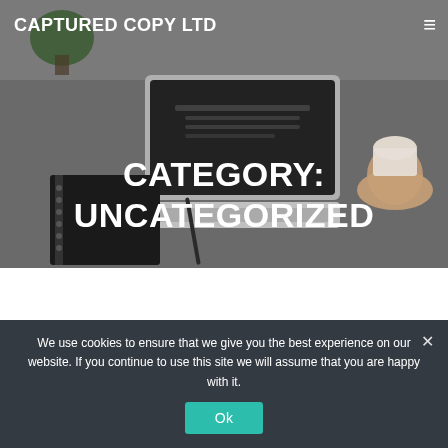CAPTURED COPY LTD
[Figure (photo): Overhead view of a desk with a laptop, notebook, pen, plant, and a hand holding a cup, all on a grey surface]
CATEGORY: UNCATEGORIZED
We use cookies to ensure that we give you the best experience on our website. If you continue to use this site we will assume that you are happy with it.
Ok